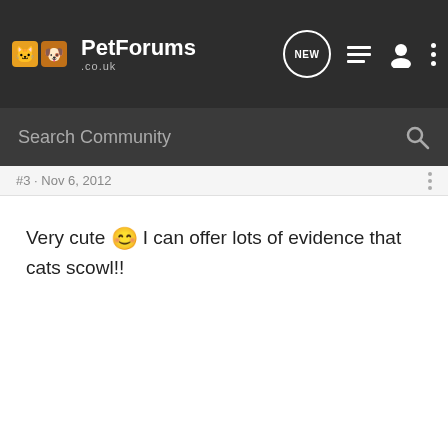PetForums .co.uk
#3 · Nov 6, 2012
Very cute 🙂 I can offer lots of evidence that cats scowl!!
ella · Registered
Joined Jan 1, 2009 · 1,228 Posts
Discussion Starter · #4 · Nov 6, 2012